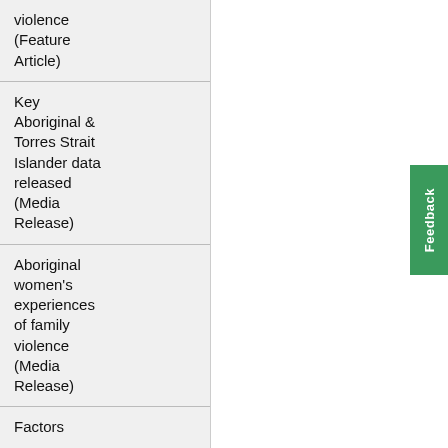violence (Feature Article)
Key Aboriginal & Torres Strait Islander data released (Media Release)
Aboriginal women's experiences of family violence (Media Release)
Factors associated...